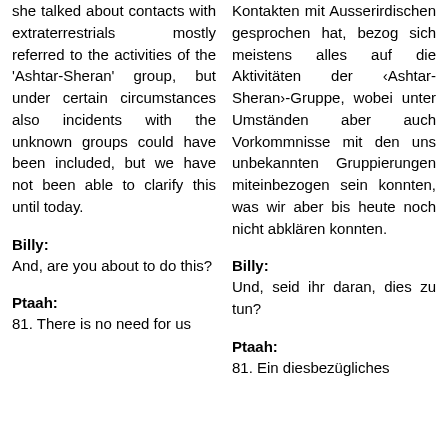she talked about contacts with extraterrestrials mostly referred to the activities of the 'Ashtar-Sheran' group, but under certain circumstances also incidents with the unknown groups could have been included, but we have not been able to clarify this until today.
Kontakten mit Ausserirdischen gesprochen hat, bezog sich meistens alles auf die Aktivitäten der ‹Ashtar-Sheran›-Gruppe, wobei unter Umständen aber auch Vorkommnisse mit den uns unbekannten Gruppierungen miteinbezogen sein konnten, was wir aber bis heute noch nicht abklären konnten.
Billy:
Billy:
And, are you about to do this?
Und, seid ihr daran, dies zu tun?
Ptaah:
Ptaah:
81. There is no need for us
81. Ein diesbezügliches Bedürfnis besteht für